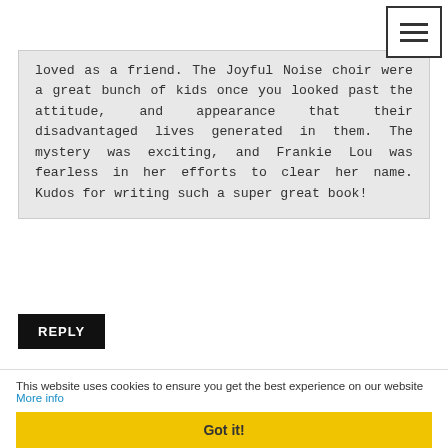[Figure (screenshot): Hamburger menu button (three horizontal lines) in top-right corner]
loved as a friend. The Joyful Noise choir were a great bunch of kids once you looked past the attitude, and appearance that their disadvantaged lives generated in them. The mystery was exciting, and Frankie Lou was fearless in her efforts to clear her name. Kudos for writing such a super great book!
REPLY
▾ Replies
Loralee
Awww, Pat, thanks for the
This website uses cookies to ensure you get the best experience on our website More info
Got it!